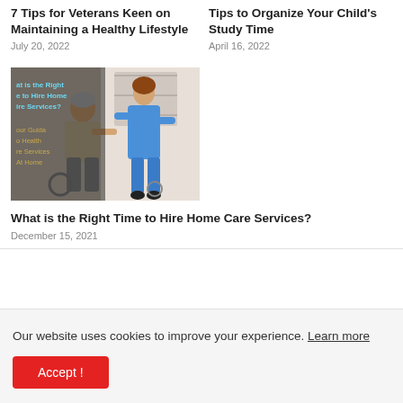7 Tips for Veterans Keen on Maintaining a Healthy Lifestyle
July 20, 2022
Tips to Organize Your Child's Study Time
April 16, 2022
[Figure (photo): A nurse in blue scrubs assisting an elderly man seated, with a wheelchair in the background. Overlaid text reads: 'What is the Right Time to Hire Home Care Services? Your Guide to Health Care Services At Home']
What is the Right Time to Hire Home Care Services?
December 15, 2021
Our website uses cookies to improve your experience. Learn more
Accept !